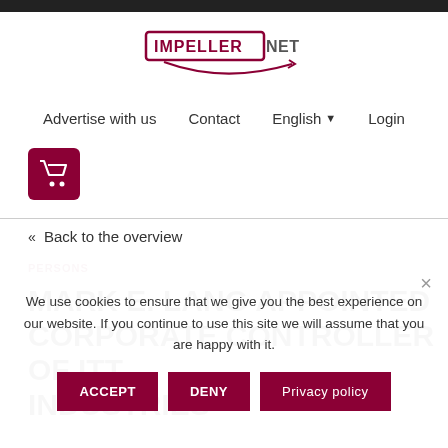[Figure (logo): Impeller.net logo — text in a rectangular badge with a swoosh underneath]
Advertise with us   Contact   English   Login
[Figure (other): Shopping cart icon in dark red square button]
« Back to the overview
PERSONS
MARK E. LANG APPOINTED CORPORATE CONTROLLER OF ITT INDUSTRIES
We use cookies to ensure that we give you the best experience on our website. If you continue to use this site we will assume that you are happy with it.
ACCEPT   DENY   Privacy policy